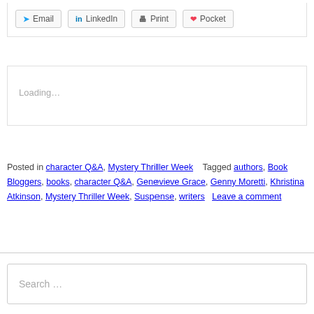Email
LinkedIn
Print
Pocket
Loading...
Posted in character Q&A, Mystery Thriller Week   Tagged authors, Book Bloggers, books, character Q&A, Genevieve Grace, Genny Moretti, Khristina Atkinson, Mystery Thriller Week, Suspense, writers   Leave a comment
Search ...